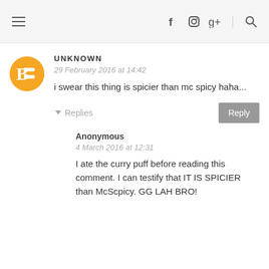≡   f  [instagram]  g+   [search]
UNKNOWN
29 February 2016 at 14:42
i swear this thing is spicier than mc spicy haha...
▾ Replies
Anonymous
4 March 2016 at 12:31
I ate the curry puff before reading this comment. I can testify that IT IS SPICIER than McScpicy. GG LAH BRO!